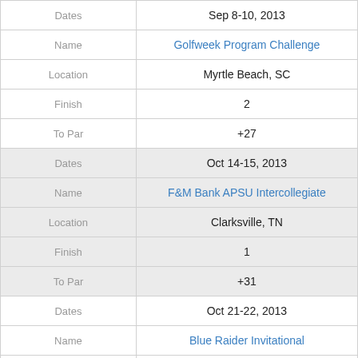| Field | Value |
| --- | --- |
| Dates | Sep 8-10, 2013 |
| Name | Golfweek Program Challenge |
| Location | Myrtle Beach, SC |
| Finish | 2 |
| To Par | +27 |
| Dates | Oct 14-15, 2013 |
| Name | F&M Bank APSU Intercollegiate |
| Location | Clarksville, TN |
| Finish | 1 |
| To Par | +31 |
| Dates | Oct 21-22, 2013 |
| Name | Blue Raider Invitational |
| Location | Murfreesboro, TN |
| Finish | 5 |